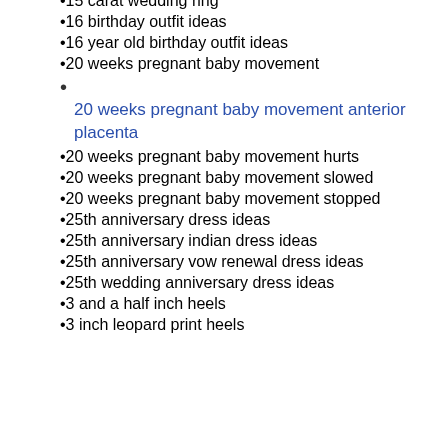15 carat wedding ring
16 birthday outfit ideas
16 year old birthday outfit ideas
20 weeks pregnant baby movement
20 weeks pregnant baby movement anterior placenta
20 weeks pregnant baby movement hurts
20 weeks pregnant baby movement slowed
20 weeks pregnant baby movement stopped
25th anniversary dress ideas
25th anniversary indian dress ideas
25th anniversary vow renewal dress ideas
25th wedding anniversary dress ideas
3 and a half inch heels
3 inch leopard print heels